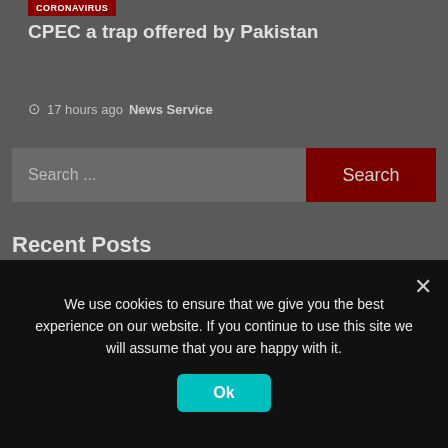CPEC a trap offered by Pakistan
17 hours ago  News Service
Search ...
Recent Posts
Inside the violent, misogynistic world of TikTok's new star, Andrew Tate
We use cookies to ensure that we give you the best experience on our website. If you continue to use this site we will assume that you are happy with it.